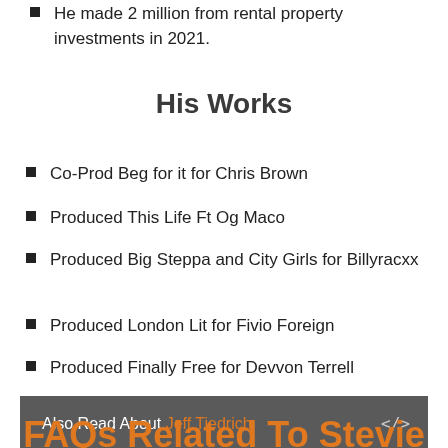He made 2 million from rental property investments in 2021.
His Works
Co-Prod Beg for it for Chris Brown
Produced This Life Ft Og Maco
Produced Big Steppa and City Girls for Billyracxx
Produced London Lit for Fivio Foreign
Produced Finally Free for Devvon Terrell
Also Read About Jeff Tiedrich
FAQs Related To Stevie